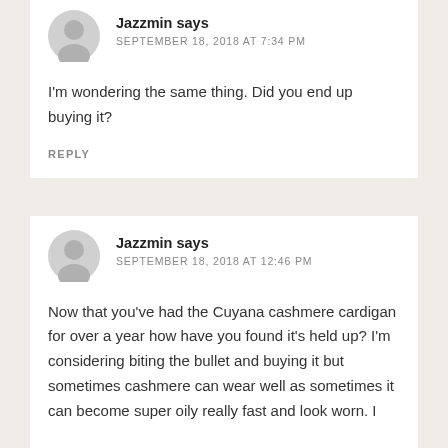Jazzmin says
SEPTEMBER 18, 2018 AT 7:34 PM
I'm wondering the same thing. Did you end up buying it?
REPLY
Jazzmin says
SEPTEMBER 18, 2018 AT 12:46 PM
Now that you've had the Cuyana cashmere cardigan for over a year how have you found it's held up? I'm considering biting the bullet and buying it but sometimes cashmere can wear well as sometimes it can become super oily really fast and look worn. I